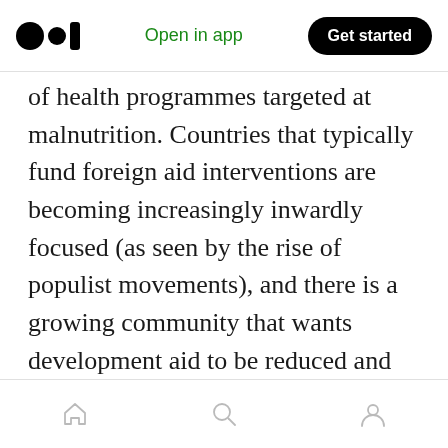Open in app | Get started
of health programmes targeted at malnutrition. Countries that typically fund foreign aid interventions are becoming increasingly inwardly focused (as seen by the rise of populist movements), and there is a growing community that wants development aid to be reduced and for national governments to use public spending on the local population. It was highlighted that we need to empower local communities to produce the foods they need to sustain themselves. Ayodele Fella of Global Alliance for Improved Nutrition (GAIN), emphasized the need
Home | Search | Profile